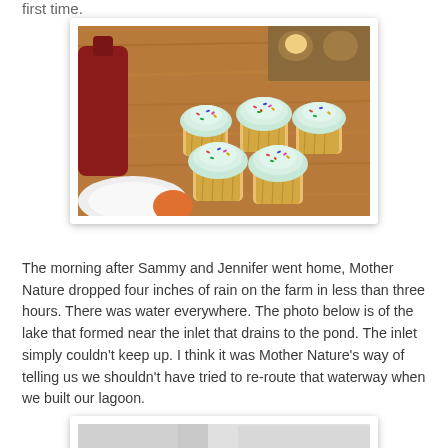first time.
[Figure (photo): Five frosted cupcakes with white icing and colorful sprinkles arranged on a wooden table surface, with a muffin tin visible in the background and a red bottle on the left side.]
The morning after Sammy and Jennifer went home, Mother Nature dropped four inches of rain on the farm in less than three hours. There was water everywhere. The photo below is of the lake that formed near the inlet that drains to the pond. The inlet simply couldn't keep up. I think it was Mother Nature's way of telling us we shouldn't have tried to re-route that waterway when we built our lagoon.
[Figure (photo): Partially visible photo of an outdoor scene, appears to show cloudy sky and possibly water or flooded area.]